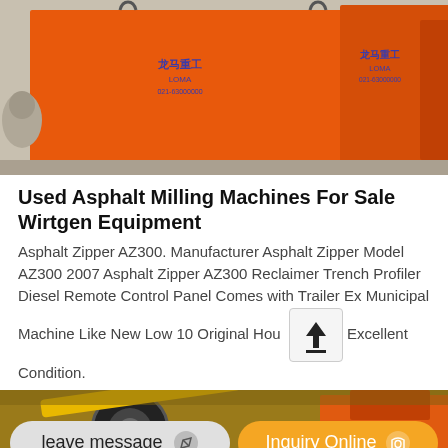[Figure (photo): Orange industrial hopper/container equipment with blue Chinese text/logo on the surface, photographed in a warehouse or factory setting]
Used Asphalt Milling Machines For Sale Wirtgen Equipment
Asphalt Zipper AZ300. Manufacturer Asphalt Zipper Model AZ300 2007 Asphalt Zipper AZ300 Reclaimer Trench Profiler Diesel Remote Control Panel Comes with Trailer Ex Municipal Machine Like New Low 10 Original Hou Excellent Condition.
[Figure (photo): Partial view of yellow and orange heavy machinery equipment in a warehouse]
leave message
Inquiry Online